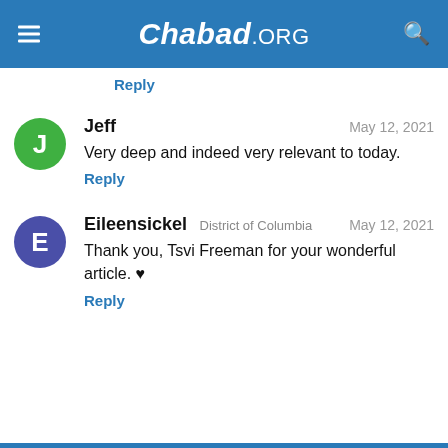Chabad.ORG
Reply
Jeff  May 12, 2021
Very deep and indeed very relevant to today.
Reply
Eileensickel  District of Columbia  May 12, 2021
Thank you, Tsvi Freeman for your wonderful article. ♥
Reply